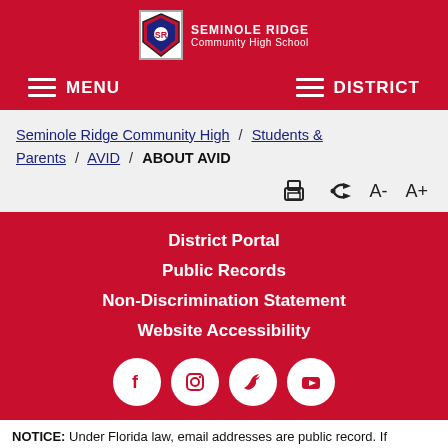SEMINOLE RIDGE Community High School
MENU
DISTRICT
Seminole Ridge Community High / Students & Parents / AVID / ABOUT AVID
District Portal
Public Records
Non-Discrimination Statement
Website Accessibility
NOTICE: Under Florida law, email addresses are public record. If